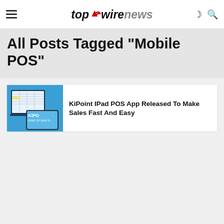top wire news
All Posts Tagged "Mobile POS"
[Figure (screenshot): KiPoint iPad POS app promotional image showing a tablet with spreadsheet-like interface and KiPO Point of Sale Software branding on a blue background]
KiPoint IPad POS App Released To Make Sales Fast And Easy